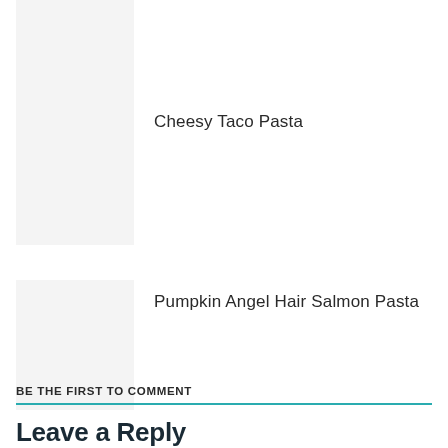[Figure (photo): Thumbnail image placeholder (light gray box), partially cropped at top of page]
Cheesy Taco Pasta
[Figure (photo): Thumbnail image placeholder (light gray box) for Cheesy Taco Pasta]
Pumpkin Angel Hair Salmon Pasta
[Figure (photo): Thumbnail image placeholder (light gray box) for Pumpkin Angel Hair Salmon Pasta]
BE THE FIRST TO COMMENT
Leave a Reply